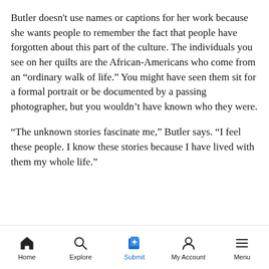Butler doesn't use names or captions for her work because she wants people to remember the fact that people have forgotten about this part of the culture. The individuals you see on her quilts are the African-Americans who come from an “ordinary walk of life.” You might have seen them sit for a formal portrait or be documented by a passing photographer, but you wouldn’t have known who they were.
“The unknown stories fascinate me,” Butler says. “I feel these people. I know these stories because I have lived with them my whole life.”
Home | Explore | Submit | My Account | Menu